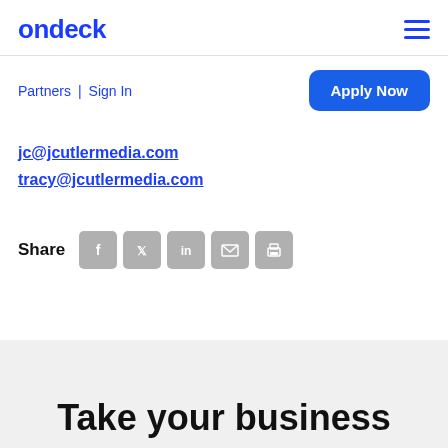ondeck
Partners | Sign In
Apply Now
jc@jcutlermedia.com
tracy@jcutlermedia.com
[Figure (infographic): Share icons row: Facebook, Twitter, LinkedIn, Email, Print icons in grey rounded squares]
Take your business